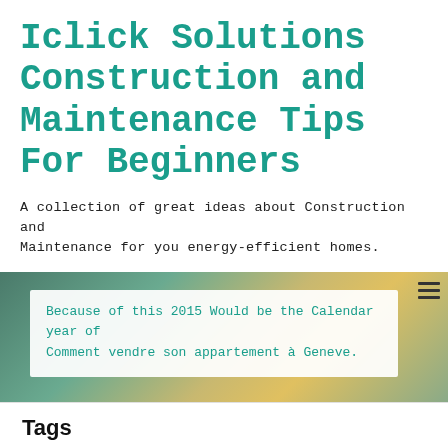Iclick Solutions Construction and Maintenance Tips For Beginners
A collection of great ideas about Construction and Maintenance for you energy-efficient homes.
[Figure (photo): Construction worker wearing yellow hard hat, photo used as background banner]
Because of this 2015 Would be the Calendar year of Comment vendre son appartement à Geneve.
Tags
affiliate marketing article marketing Business (General) cell phones credit cards employment forex home business investing locksmiths multi-level marketing network marketing